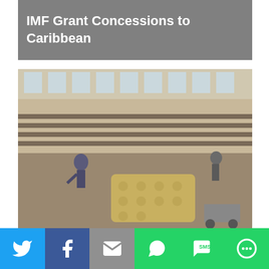IMF Grant Concessions to Caribbean
[Figure (photo): Indoor shelter with people and an air mattress on the floor, post-hurricane relief scene]
Poverty for Post-Maria Puerto Rico Up By 8%
[Figure (photo): People struggling in heavy wind and rain during a hurricane storm]
Twitter | Facebook | Email | WhatsApp | SMS | More